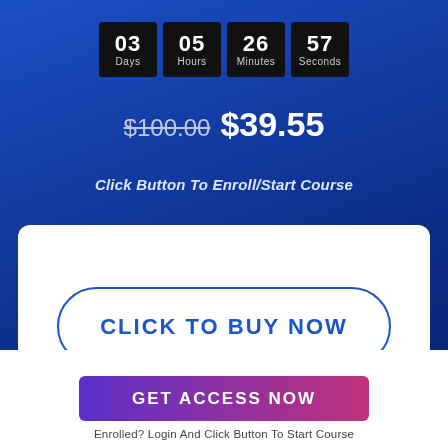[Figure (infographic): Countdown timer showing 03 Days, 05 Hours, 26 Minutes, 57 Seconds in black boxes on blue background]
$100.00 $39.55
Click Button To Enroll/Start Course
CLICK TO BUY NOW
Level    Beginner
GET ACCESS NOW
Enrolled? Login And Click Button To Start Course